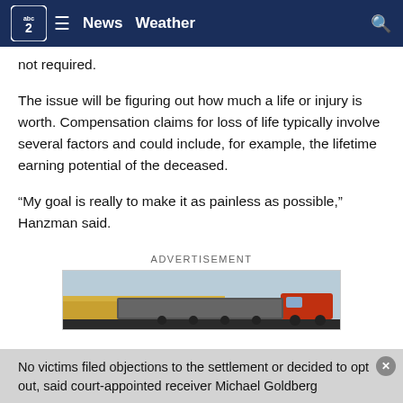abc2 | News  Weather
not required.
The issue will be figuring out how much a life or injury is worth. Compensation claims for loss of life typically involve several factors and could include, for example, the lifetime earning potential of the deceased.
“My goal is really to make it as painless as possible,” Hanzman said.
ADVERTISEMENT
[Figure (photo): Advertisement banner showing a red semi-truck driving past a wheat field]
No victims filed objections to the settlement or decided to opt out, said court-appointed receiver Michael Goldberg